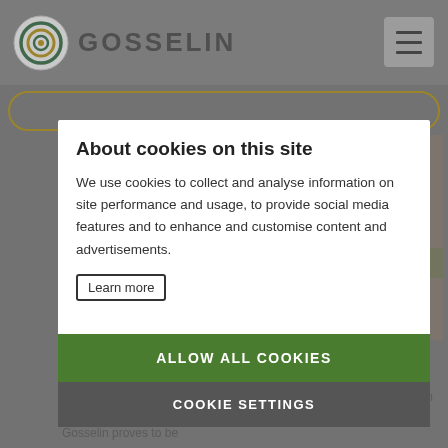GOSSELIN
About cookies on this site
We use cookies to collect and analyse information on site performance and usage, to provide social media features and to enhance and customise content and advertisements.
Learn more
ALLOW ALL COOKIES
COOKIE SETTINGS
The Silk Road, a route of collaborations
14/01/2022
The Silk Road, Contemporary Art and Artists from Italy is an exhibition that travels the ancient trading route connecting China with the West. Gosselin proves to be